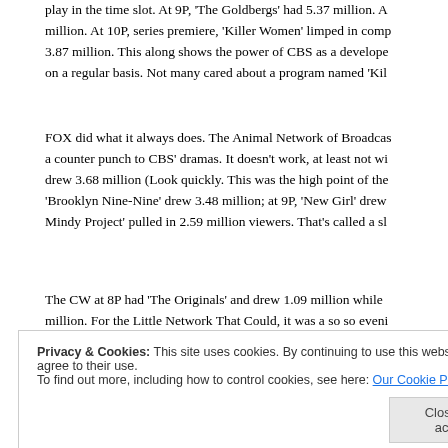play in the time slot. At 9P, 'The Goldbergs' had 5.37 million. A million. At 10P, series premiere, 'Killer Women' limped in comp 3.87 million. This along shows the power of CBS as a develope on a regular basis. Not many cared about a program named 'Kil
FOX did what it always does. The Animal Network of Broadcas a counter punch to CBS' dramas. It doesn't work, at least not wi drew 3.68 million (Look quickly. This was the high point of the 'Brooklyn Nine-Nine' drew 3.48 million; at 9P, 'New Girl' drew Mindy Project' pulled in 2.59 million viewers. That's called a sl
The CW at 8P had 'The Originals' and drew 1.09 million while million. For the Little Network That Could, it was a so so eveni
Privacy & Cookies: This site uses cookies. By continuing to use this website, you agree to their use.
To find out more, including how to control cookies, see here: Our Cookie Policy
OWN's season two premiere of the Tyler Perry drama 'The Hav